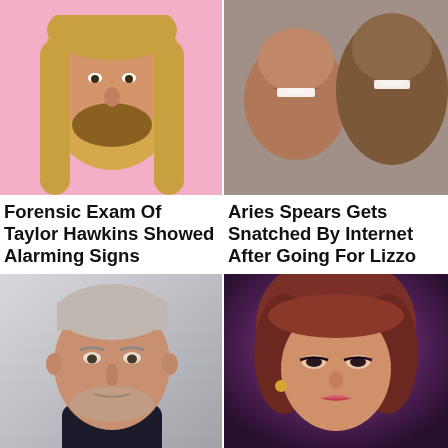[Figure (photo): Man with long blond hair and beard, smiling, pink background]
[Figure (photo): Two people smiling, dark background]
Forensic Exam Of Taylor Hawkins Showed Alarming Signs
Aries Spears Gets Snatched By Internet After Going For Lizzo
[Figure (photo): Older man with short gray hair, serious expression, gray background]
[Figure (photo): Woman with dark reddish hair, heavy eye makeup, purple/dark background]
Don Henley Confessed Who The Real Leader Of
The Bangles Singer Susanna Hoffs Still Looks